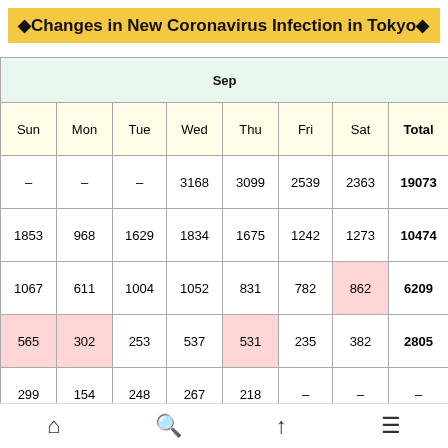◆Changes in New Coronavirus Infection in Tokyo◆
| Sun | Mon | Tue | Wed | Thu | Fri | Sat | Total |
| --- | --- | --- | --- | --- | --- | --- | --- |
| – | – | – | 3168 | 3099 | 2539 | 2363 | 19073 |
| 1853 | 968 | 1629 | 1834 | 1675 | 1242 | 1273 | 10474 |
| 1067 | 611 | 1004 | 1052 | 831 | 782 | 862 | 6209 |
| 565 | 302 | 253 | 537 | 531 | 235 | 382 | 2805 |
| 299 | 154 | 248 | 267 | 218 | – | – | – |
| Sun | Mon | Tue | Wed | Thu | Fri | Sat | Total |
| --- | --- | --- | --- | --- | --- | --- | --- |